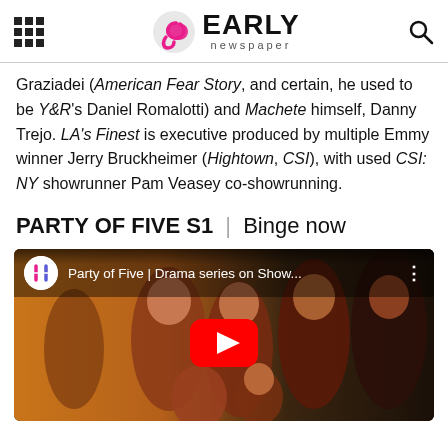Early Newspaper - logo header with grid menu and search icon
Graziadei (American Fear Story, and certain, he used to be Y&R's Daniel Romalotti) and Machete himself, Danny Trejo. LA's Finest is executive produced by multiple Emmy winner Jerry Bruckheimer (Hightown, CSI), with used CSI: NY showrunner Pam Veasey co-showrunning.
PARTY OF FIVE S1 | Binge now
[Figure (screenshot): YouTube video thumbnail for 'Party of Five | Drama series on Show...' showing five young people posing together with a YouTube play button overlay.]